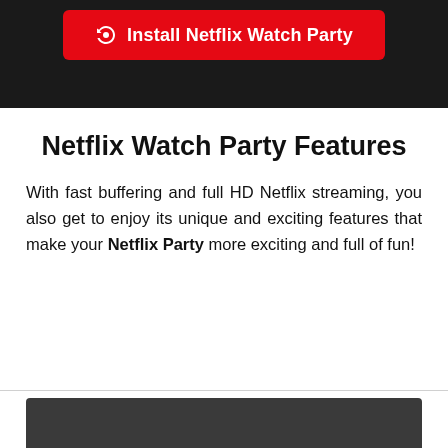[Figure (screenshot): Dark header bar with a red 'Install Netflix Watch Party' button with a refresh/Netflix icon]
Netflix Watch Party Features
With fast buffering and full HD Netflix streaming, you also get to enjoy its unique and exciting features that make your Netflix Party more exciting and full of fun!
[Figure (screenshot): Dark grey/black rectangular area at the bottom of the page (partial screenshot)]